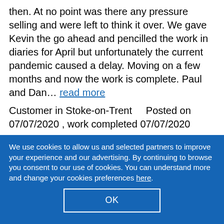then. At no point was there any pressure selling and were left to think it over. We gave Kevin the go ahead and pencilled the work in diaries for April but unfortunately the current pandemic caused a delay. Moving on a few months and now the work is complete. Paul and Dan… read more
Customer in Stoke-on-Trent    Posted on 07/07/2020 , work completed 07/07/2020
We use cookies to allow us and selected partners to improve your experience and our advertising. By continuing to browse you consent to our use of cookies. You can understand more and change your cookies preferences here.